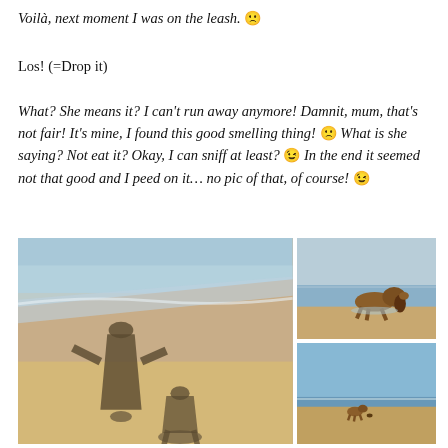Voilà, next moment I was on the leash. 😕
Los! (=Drop it)
What? She means it? I can't run away anymore! Damnit, mum, that's not fair! It's mine, I found this good smelling thing! 😕 What is she saying? Not eat it? Okay, I can sniff at least? 😉 In the end it seemed not that good and I peed on it… no pic of that, of course! 😉
[Figure (photo): Beach photo showing shadows of a person and a dog on wet sand with ocean waves]
[Figure (photo): Photo of a dog sniffing/playing in shallow ocean water at the beach]
[Figure (photo): Photo of a dog running on the beach near the shoreline with blue sky]